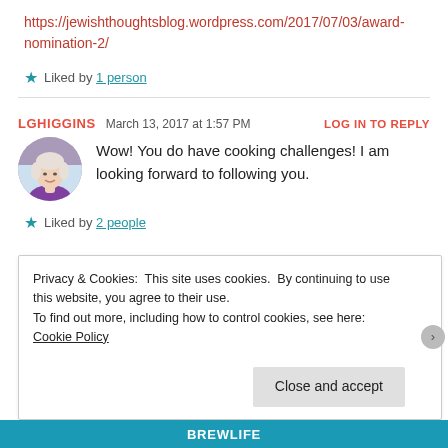https://jewishthoughtsblog.wordpress.com/2017/07/03/award-nomination-2/
Liked by 1 person
LGHIGGINS  March 13, 2017 at 1:57 PM  LOG IN TO REPLY
[Figure (photo): Circular avatar photo of a woman with light hair wearing a purple top]
Wow! You do have cooking challenges! I am looking forward to following you.
Liked by 2 people
Privacy & Cookies: This site uses cookies. By continuing to use this website, you agree to their use. To find out more, including how to control cookies, see here: Cookie Policy
Close and accept